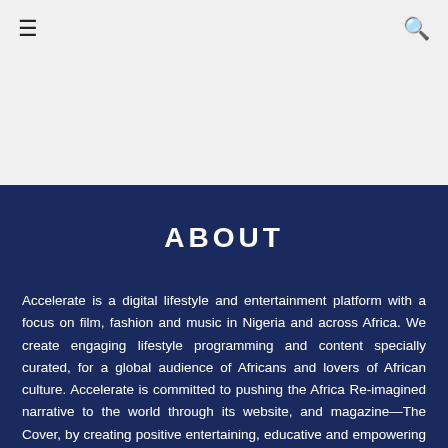☰  🔍
ABOUT
Accelerate is a digital lifestyle and entertainment platform with a focus on film, fashion and music in Nigeria and across Africa. We create engaging lifestyle programming and content specially curated, for a global audience of Africans and lovers of African culture. Accelerate is committed to pushing the Africa Re-imagined narrative to the world through its website, and magazine—The Cover, by creating positive entertaining, educative and empowering content. With more than 10 million